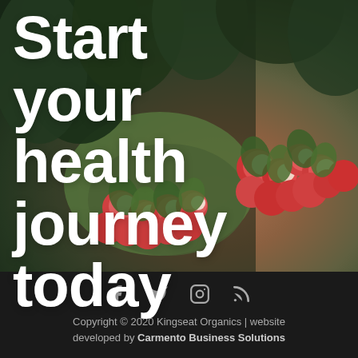[Figure (photo): Background photo of bunches of red and white radishes with green leafy tops, set against a dark blurred vegetable background. Large white bold text overlaid reads 'Start your health journey today'.]
Start your health journey today
Copyright © 2020 Kingseat Organics | website developed by Carmento Business Solutions